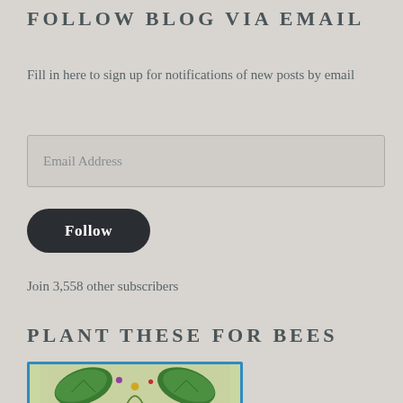FOLLOW BLOG VIA EMAIL
Fill in here to sign up for notifications of new posts by email
[Figure (other): Email address input field with placeholder text 'Email Address']
[Figure (other): Dark rounded button labeled 'Follow']
Join 3,558 other subscribers
PLANT THESE FOR BEES
[Figure (illustration): Partial illustration with blue border showing plant leaves and bee-related botanical art]